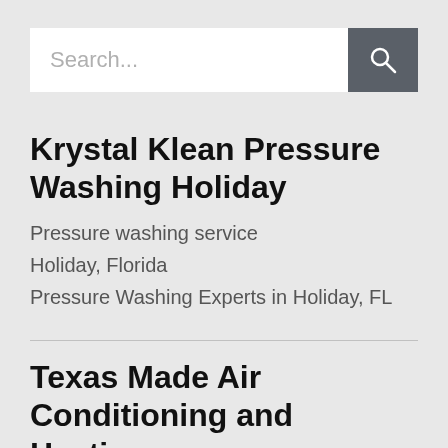[Figure (screenshot): Search bar with text input placeholder 'Search...' and a dark grey search button with magnifying glass icon]
Krystal Klean Pressure Washing Holiday
Pressure washing service
Holiday, Florida
Pressure Washing Experts in Holiday, FL
Texas Made Air Conditioning and Heating
Air conditioning contractor
Granbury, TX